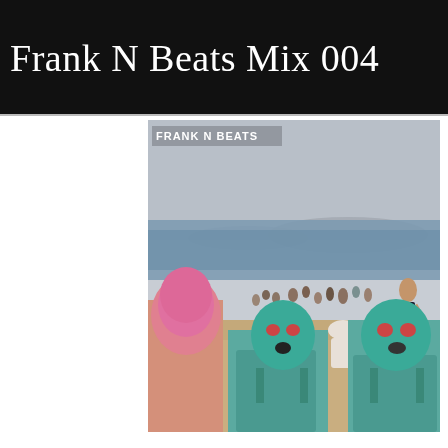Frank N Beats Mix 004
[Figure (photo): Beach scene with people wearing teal and pink face-covering swim masks (facekinis) sitting on sand, crowded beach with sea and hazy sky in background. White text overlay reads FRANK N BEATS in the upper left corner.]